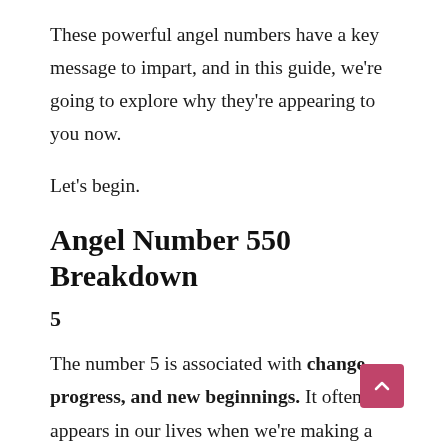These powerful angel numbers have a key message to impart, and in this guide, we're going to explore why they're appearing to you now.
Let's begin.
Angel Number 550 Breakdown
5
The number 5 is associated with change, progress, and new beginnings. It often appears in our lives when we're making a shift or embarking on a new journey.